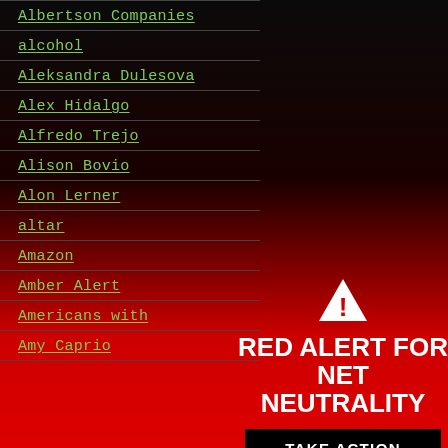Albertson Companies
alcohol
Aleksandra Dulesova
Alex Hidalgo
Alfredo Trejo
Alison Bovio
Alon Lerner
altar
Amazon
Amber Alert
Americans with
Amy Caprio
[Figure (infographic): Red Alert for Net Neutrality overlay panel with warning triangle icon, bold white text 'RED ALERT FOR NET NEUTRALITY', a black 'TAKE ACTION' button, and a 'CLOSE' link]
RED ALERT FOR NET NEUTRALITY
TAKE ACTION
CLOSE